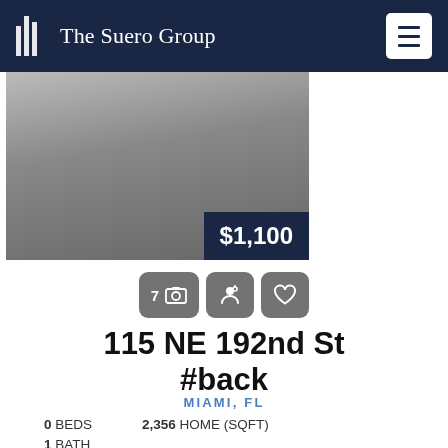The Suero Group
[Figure (photo): Property listing photo placeholder in grey, with price badge showing $1,100]
[Figure (other): Action buttons row: 7 photos, schedule showing, save/heart]
115 NE 192nd St #back
MIAMI, FL
0 BEDS   2,356 HOME (SQFT)
1 BATH
VIEW THE LISTING